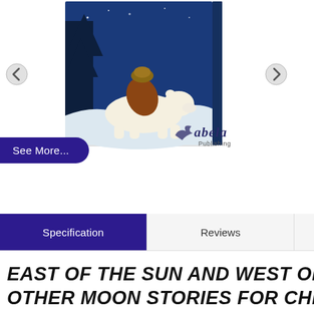[Figure (illustration): Book cover showing a white polar bear with a child riding on its back against a dark blue night sky background, with snow on the ground. The book has a hardcover 3D appearance.]
[Figure (logo): Abela Publishing logo with a bird graphic and the text 'abela Publishing']
See More...
Specification
Reviews
EAST OF THE SUN AND WEST OF THE M... OTHER MOON STORIES FOR CHILDREN...